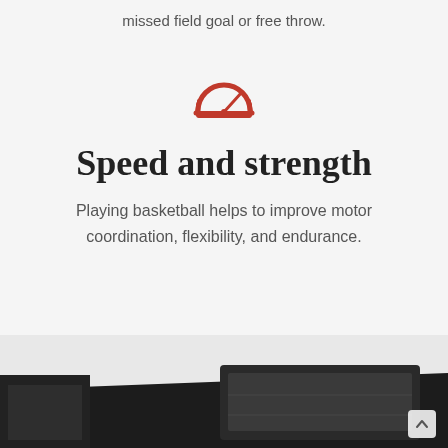missed field goal or free throw.
[Figure (illustration): Red speedometer/gauge icon]
Speed and strength
Playing basketball helps to improve motor coordination, flexibility, and endurance.
[Figure (photo): Dark basketball court photo with scoreboard, bottom section of page]